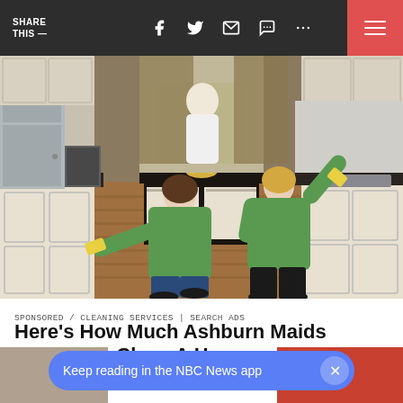SHARE THIS —
[Figure (photo): Three women in green shirts cleaning a residential kitchen. One bends down wiping the oven, another cleans the backsplash near the stove, and a third can be seen in the background near the dining area. The kitchen has dark countertops, white cabinets, and wood floors.]
SPONSORED / CLEANING SERVICES | SEARCH ADS
Here's How Much Ashburn Maids Charge To Clean A House
Keep reading in the NBC News app